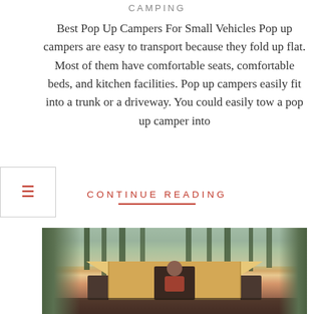CAMPING
Best Pop Up Campers For Small Vehicles Pop up campers are easy to transport because they fold up flat. Most of them have comfortable seats, comfortable beds, and kitchen facilities. Pop up campers easily fit into a trunk or a driveway. You could easily tow a pop up camper into
CONTINUE READING
[Figure (photo): A woman sitting inside a rooftop tent on a vehicle, surrounded by tall pine trees in a forest setting. The tent is beige/yellow colored with the canopy open.]